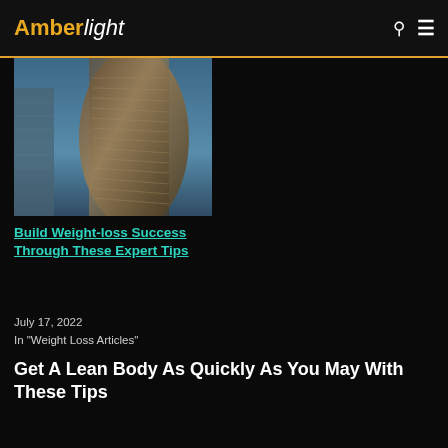AmberLight
[Figure (photo): Looking-up perspective photo of a modern curved glass skyscraper building against a blue sky]
Build Weight-loss Success Through These Expert Tips
July 17, 2022
In "Weight Loss Articles"
Get A Lean Body As Quickly As You May With These Tips
Fitness Might Be Simple With One Of These Effective Tips